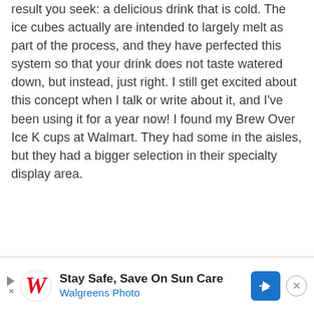result you seek: a delicious drink that is cold. The ice cubes actually are intended to largely melt as part of the process, and they have perfected this system so that your drink does not taste watered down, but instead, just right. I still get excited about this concept when I talk or write about it, and I've been using it for a year now! I found my Brew Over Ice K cups at Walmart. They had some in the aisles, but they had a bigger selection in their specialty display area.
[Figure (other): Advertisement banner for Walgreens Photo: 'Stay Safe, Save On Sun Care' with Walgreens cursive W logo and a blue directional road sign icon]